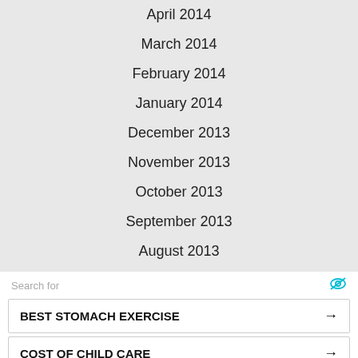April 2014
March 2014
February 2014
January 2014
December 2013
November 2013
October 2013
September 2013
August 2013
July 2013
June 2013
May 2013
April 2013
Search for
BEST STOMACH EXERCISE →
COST OF CHILD CARE →